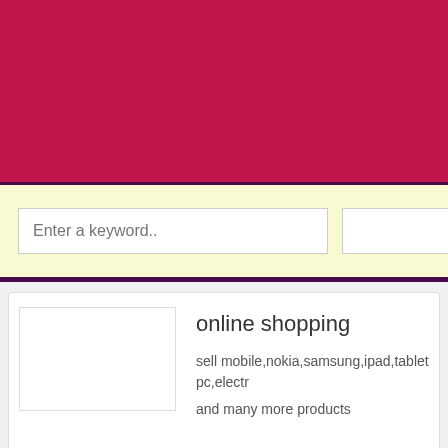[Figure (other): Crimson/magenta header banner at the top of the page]
[Figure (screenshot): Search bar area with light yellow background, containing a keyword input field and a button]
online shopping
sell mobile,nokia,samsung,ipad,tablet pc,electr
and many more products